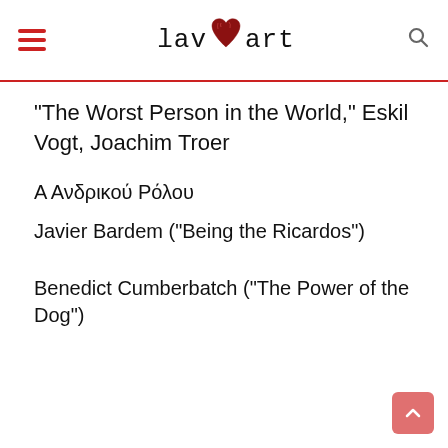lavart
“The Worst Person in the World,” Eskil Vogt, Joachim Troer
Α Ανδρικού Ρόλου
Javier Bardem (“Being the Ricardos”)
Benedict Cumberbatch (“The Power of the Dog”)